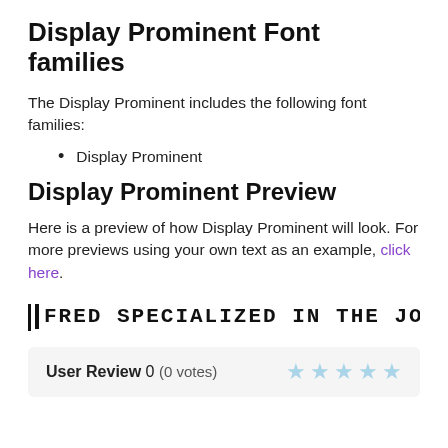Display Prominent Font families
The Display Prominent includes the following font families:
Display Prominent
Display Prominent Preview
Here is a preview of how Display Prominent will look. For more previews using your own text as an example, click here.
[Figure (other): Font preview showing text in Display Prominent font: FRED SPECIALIZED IN THE JOB OF MAKING VERY QUAINT WA]
User Review 0 (0 votes) [5 stars]